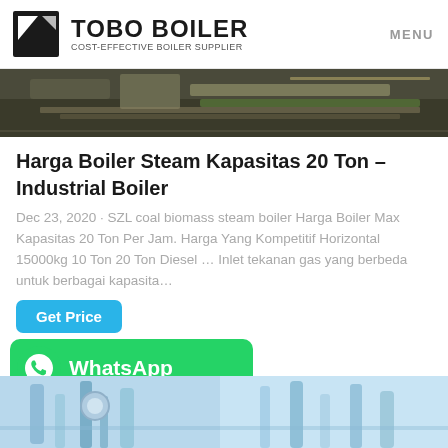TOBO BOILER — COST-EFFECTIVE BOILER SUPPLIER | MENU
[Figure (photo): Industrial boiler equipment photo, dark tones, factory setting]
Harga Boiler Steam Kapasitas 20 Ton – Industrial Boiler
Dec 23, 2020 · SZL coal biomass steam boiler Harga Boiler Max Kapasitas 20 Ton Per Jam. Harga Yang Kompetitif Horizontal 15000kg 10 Ton 20 Ton Diesel … Inlet tekanan gas yang berbeda untuk berbagai kapasita…
Get Price
[Figure (screenshot): WhatsApp contact button (green background with WhatsApp logo and text 'WhatsApp')]
[Figure (photo): Industrial boiler pipes and equipment, blue tones]